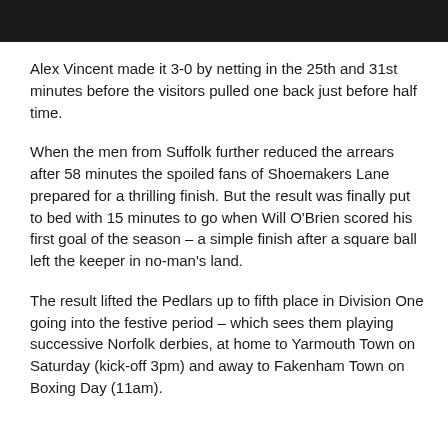[Figure (photo): Black bar at top of page]
Alex Vincent made it 3-0 by netting in the 25th and 31st minutes before the visitors pulled one back just before half time.
When the men from Suffolk further reduced the arrears after 58 minutes the spoiled fans of Shoemakers Lane prepared for a thrilling finish. But the result was finally put to bed with 15 minutes to go when Will O'Brien scored his first goal of the season – a simple finish after a square ball left the keeper in no-man's land.
The result lifted the Pedlars up to fifth place in Division One going into the festive period – which sees them playing successive Norfolk derbies, at home to Yarmouth Town on Saturday (kick-off 3pm) and away to Fakenham Town on Boxing Day (11am).